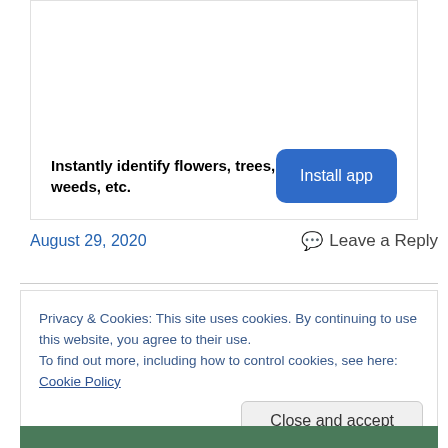[Figure (other): Advertisement box with plant identification app promotion]
Instantly identify flowers, trees, weeds, etc.
Install app
August 29, 2020
Leave a Reply
Privacy & Cookies: This site uses cookies. By continuing to use this website, you agree to their use.
To find out more, including how to control cookies, see here: Cookie Policy
Close and accept
[Figure (photo): Photo strip at bottom showing green outdoor scene]